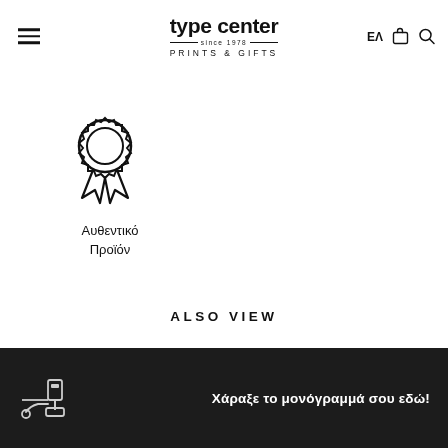type center PRINTS & GIFTS — ΕΛ
[Figure (illustration): Award badge / ribbon icon outline illustration]
Αυθεντικό Προϊόν
ALSO VIEW
Χάραξε το μονόγραμμά σου εδώ!